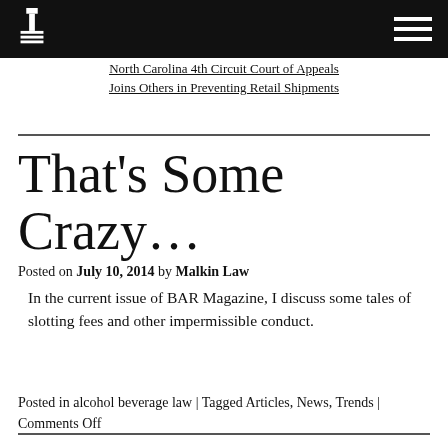North Carolina 4th Circuit Court of Appeals Joins Others in Preventing Retail Shipments
That’s Some Crazy…
Posted on July 10, 2014 by Malkin Law
In the current issue of BAR Magazine, I discuss some tales of slotting fees and other impermissible conduct.
Posted in alcohol beverage law | Tagged Articles, News, Trends | Comments Off